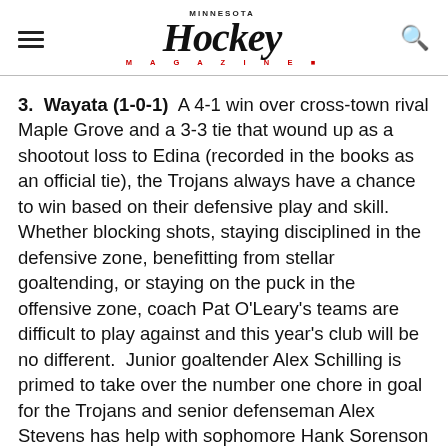Minnesota Hockey Magazine
3. Wayata (1-0-1) A 4-1 win over cross-town rival Maple Grove and a 3-3 tie that wound up as a shootout loss to Edina (recorded in the books as an official tie), the Trojans always have a chance to win based on their defensive play and skill. Whether blocking shots, staying disciplined in the defensive zone, benefitting from stellar goaltending, or staying on the puck in the offensive zone, coach Pat O'Leary's teams are difficult to play against and this year's club will be no different. Junior goaltender Alex Schilling is primed to take over the number one chore in goal for the Trojans and senior defenseman Alex Stevens has help with sophomore Hank Sorenson holding down the fort. Junior Max Zimmer